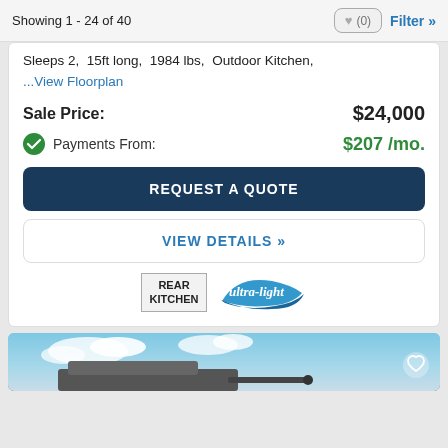Showing 1 - 24 of 40
Sleeps 2,  15ft long,  1984 lbs,  Outdoor Kitchen,
...View Floorplan
Sale Price:   $24,000
Payments From:   $207 /mo.
REQUEST A QUOTE
VIEW DETAILS »
[Figure (logo): REAR KITCHEN badge and ultra-light logo badges]
[Figure (photo): Partial photo of a trailer/RV exterior against a blue sky with clouds]